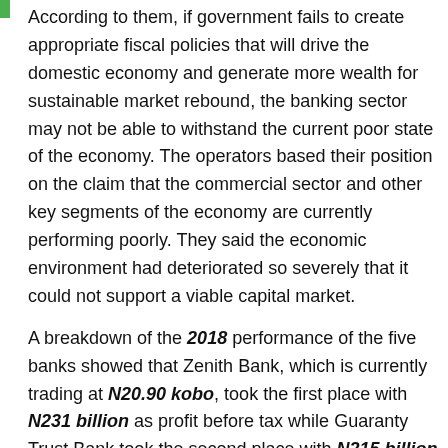According to them, if government fails to create appropriate fiscal policies that will drive the domestic economy and generate more wealth for sustainable market rebound, the banking sector may not be able to withstand the current poor state of the economy. The operators based their position on the claim that the commercial sector and other key segments of the economy are currently performing poorly. They said the economic environment had deteriorated so severely that it could not support a viable capital market.
A breakdown of the 2018 performance of the five banks showed that Zenith Bank, which is currently trading at N20.90 kobo, took the first place with N231 billion as profit before tax while Guaranty Trust Bank took the second place with N215 billion trading at N34.80 kobo. UBA ranked third with a profit and stock price of N106.7 billion and N6.65 kobo per share.